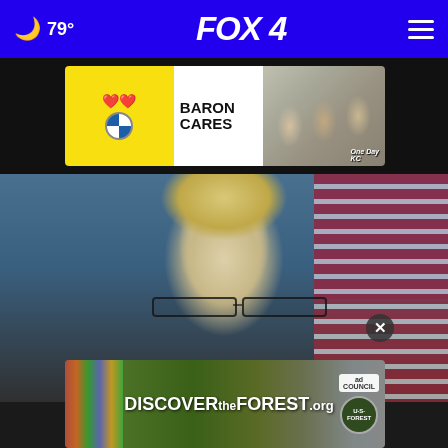🌙 79° FOX 4
[Figure (photo): Baron BMW 'Baron Cares' advertisement banner with hearts logo, BMW roundel, text BARON CARES, and three smiling people in uniforms with KC branding]
[Figure (photo): Close-up photo of a blonde woman with glasses speaking, with an American flag partially visible on the right side and a blue background]
[Figure (photo): Discover the Forest advertisement banner with forest imagery, ad council logo, and US Forest Service seal]